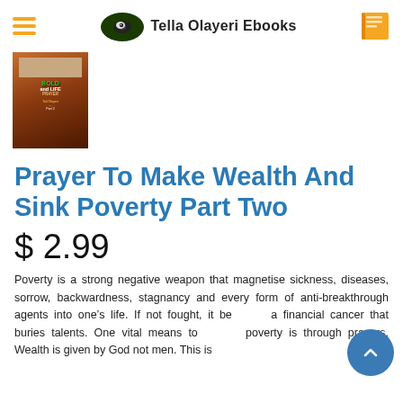Tella Olayeri Ebooks
[Figure (illustration): Book cover thumbnail for 'Prayer To Make Wealth And Sink Poverty Part Two' showing colorful text on a dark background]
Prayer To Make Wealth And Sink Poverty Part Two
$ 2.99
Poverty is a strong negative weapon that magnetise sickness, diseases, sorrow, backwardness, stagnancy and every form of anti-breakthrough agents into one's life. If not fought, it becomes a financial cancer that buries talents. One vital means to silence poverty is through prayers. Wealth is given by God not men. This is